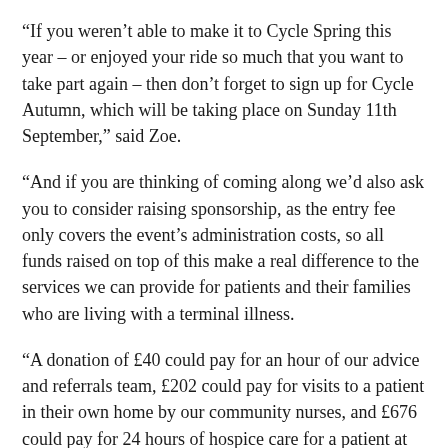“If you weren’t able to make it to Cycle Spring this year – or enjoyed your ride so much that you want to take part again – then don’t forget to sign up for Cycle Autumn, which will be taking place on Sunday 11th September,” said Zoe.
“And if you are thinking of coming along we’d also ask you to consider raising sponsorship, as the entry fee only covers the event’s administration costs, so all funds raised on top of this make a real difference to the services we can provide for patients and their families who are living with a terminal illness.
“A donation of £40 could pay for an hour of our advice and referrals team, £202 could pay for visits to a patient in their own home by our community nurses, and £676 could pay for 24 hours of hospice care for a patient at the end of their life.”
For more information about Cycle Autumn, please visit